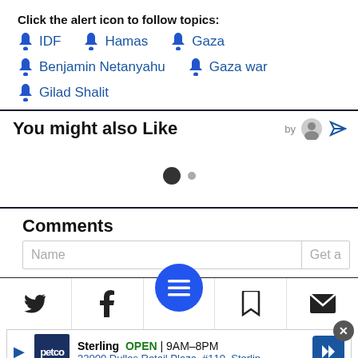Click the alert icon to follow topics:
🔔 IDF    🔔 Hamas    🔔 Gaza
🔔 Benjamin Netanyahu    🔔 Gaza war
🔔 Gilad Shalit
You might also Like
[Figure (other): Loading dots indicator showing one large filled circle and one small grey dot]
Comments
[Figure (infographic): Comments input area with Name field and Get a label, followed by social sharing toolbar with Twitter, Facebook, hamburger menu button, bookmark, and email icons, and a Petco advertisement banner at bottom]